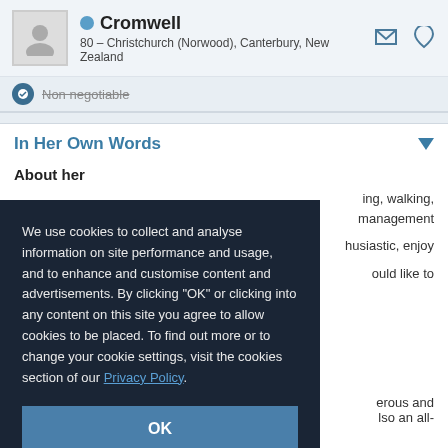Cromwell — 80 – Christchurch (Norwood), Canterbury, New Zealand
Non negotiable
In Her Own Words
About her
ing, walking, management
husiastic, enjoy
ould like to
erous and
lso an all-rounder who enjoys the
We use cookies to collect and analyse information on site performance and usage, and to enhance and customise content and advertisements. By clicking "OK" or clicking into any content on this site you agree to allow cookies to be placed. To find out more or to change your cookie settings, visit the cookies section of our Privacy Policy.